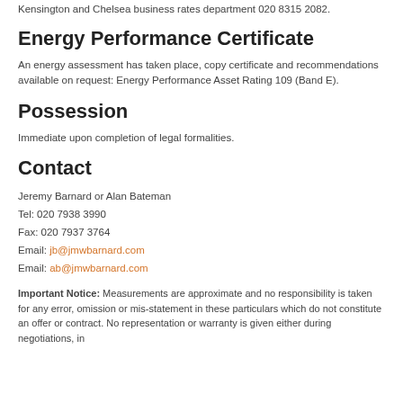Kensington and Chelsea business rates department 020 8315 2082.
Energy Performance Certificate
An energy assessment has taken place, copy certificate and recommendations available on request: Energy Performance Asset Rating 109 (Band E).
Possession
Immediate upon completion of legal formalities.
Contact
Jeremy Barnard or Alan Bateman
Tel: 020 7938 3990
Fax: 020 7937 3764
Email: jb@jmwbarnard.com
Email: ab@jmwbarnard.com
Important Notice: Measurements are approximate and no responsibility is taken for any error, omission or mis-statement in these particulars which do not constitute an offer or contract. No representation or warranty is given either during negotiations, in